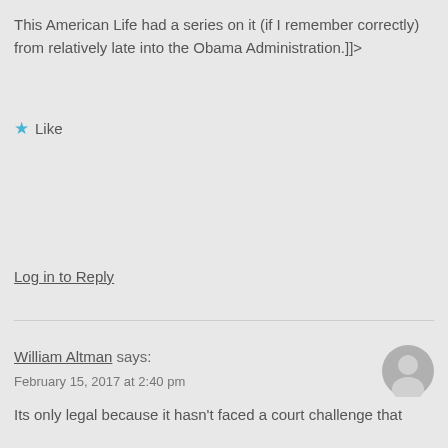This American Life had a series on it (if I remember correctly) from relatively late into the Obama Administration.]]>
★ Like
Log in to Reply
William Altman says:
February 15, 2017 at 2:40 pm
Its only legal because it hasn't faced a court challenge that...